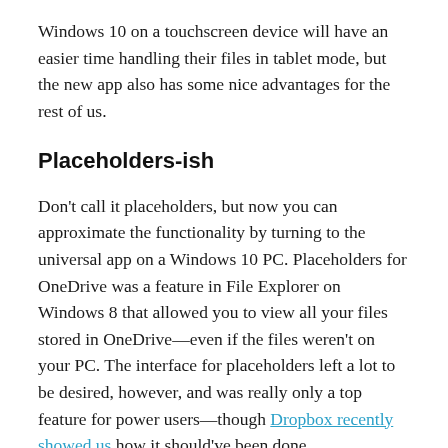Windows 10 on a touchscreen device will have an easier time handling their files in tablet mode, but the new app also has some nice advantages for the rest of us.
Placeholders-ish
Don't call it placeholders, but now you can approximate the functionality by turning to the universal app on a Windows 10 PC. Placeholders for OneDrive was a feature in File Explorer on Windows 8 that allowed you to view all your files stored in OneDrive—even if the files weren't on your PC. The interface for placeholders left a lot to be desired, however, and was really only a top feature for power users—though Dropbox recently showed us how it should've been done.